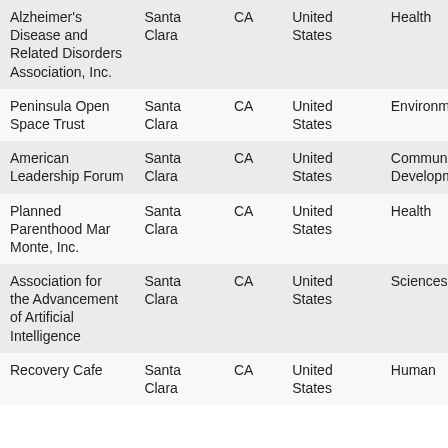| Alzheimer's Disease and Related Disorders Association, Inc. | Santa Clara | CA | United States | Health |
| Peninsula Open Space Trust | Santa Clara | CA | United States | Environment |
| American Leadership Forum | Santa Clara | CA | United States | Community Development |
| Planned Parenthood Mar Monte, Inc. | Santa Clara | CA | United States | Health |
| Association for the Advancement of Artificial Intelligence | Santa Clara | CA | United States | Sciences |
| Recovery Cafe | Santa Clara | CA | United States | Human |